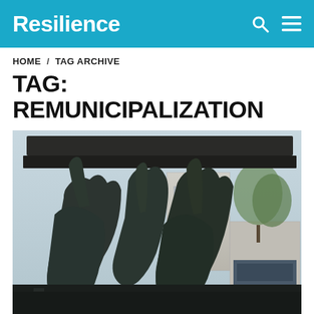Resilience
HOME / TAG ARCHIVE
TAG: REMUNICIPALIZATION
[Figure (photo): Black and white photograph of bronze or dark metal classical statues of female figures (caryatids) holding up a decorative architectural structure, with a Parisian street and buildings visible in the background, including trees and storefronts.]